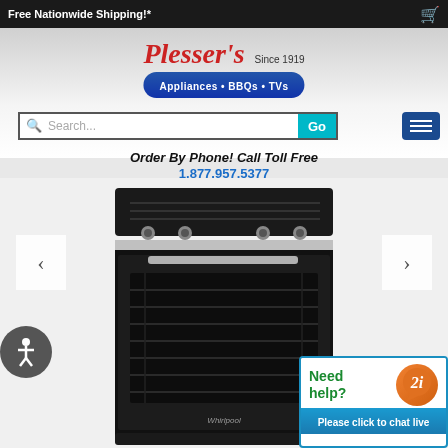Free Nationwide Shipping!*
[Figure (logo): Plesser's Appliances BBQs TVs logo with Since 1919 text and blue oval badge]
Search...
Order By Phone! Call Toll Free
1.877.957.5377
[Figure (photo): Whirlpool black slide-in gas range with 5 burners and oven window]